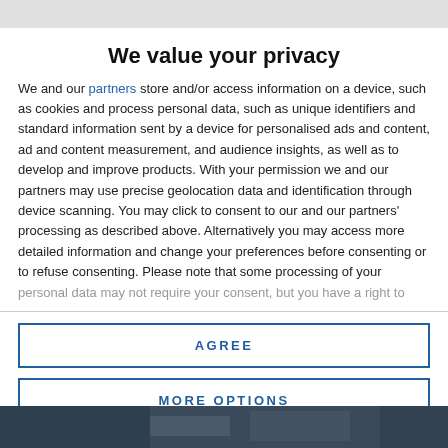We value your privacy
We and our partners store and/or access information on a device, such as cookies and process personal data, such as unique identifiers and standard information sent by a device for personalised ads and content, ad and content measurement, and audience insights, as well as to develop and improve products. With your permission we and our partners may use precise geolocation data and identification through device scanning. You may click to consent to our and our partners' processing as described above. Alternatively you may access more detailed information and change your preferences before consenting or to refuse consenting. Please note that some processing of your personal data may not require your consent, but you have a right to
AGREE
MORE OPTIONS
[Figure (photo): Dark photographic image at bottom of page, partially visible]